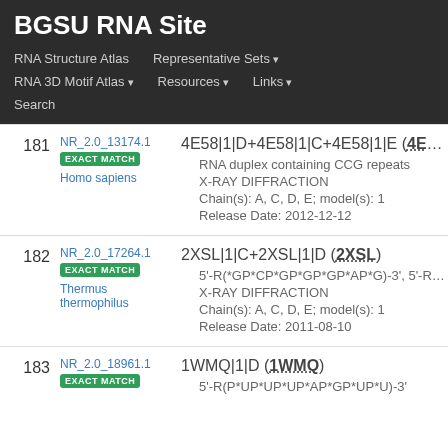BGSU RNA Site
RNA Structure Atlas | Representative Sets ▾ | RNA 3D Motif Atlas ▾ | Resources ▾ | Links ▾ | Search
181 NR_2.0_13174.1 EXACT MATCH Homo sapiens — 4E58|1|D+4E58|1|C+4E58|1|E (4E58) • RNA duplex containing CCG repeats • X-RAY DIFFRACTION • Chain(s): A, C, D, E; model(s): 1 • Release Date: 2012-12-12
182 NR_2.0_17264.1 EXACT MATCH Thermus thermophilus — 2XSL|1|C+2XSL|1|D (2XSL) • 5'-R(*GP*CP*GP*GP*GP*AP*G)-3', 5'-R(*CP* • X-RAY DIFFRACTION • Chain(s): A, C, D, E; model(s): 1 • Release Date: 2011-08-10
183 NR_2.0_18961.1 EXACT MATCH — 1WMQ|1|D (1WMQ) • 5'-R(P*UP*UP*UP*AP*GP*UP*U)-3'